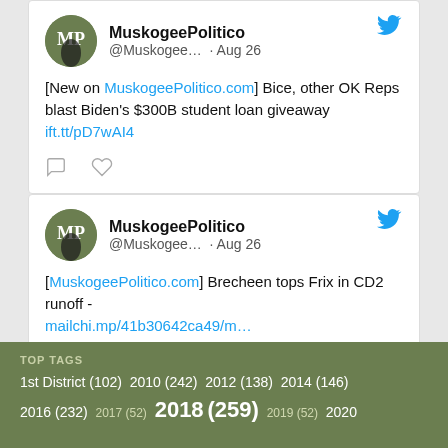[Figure (screenshot): Tweet from MuskogeePolitico (@Muskogee...) · Aug 26: [New on MuskogeePolitico.com] Bice, other OK Reps blast Biden's $300B student loan giveaway ift.tt/pD7wAI4]
[Figure (screenshot): Tweet from MuskogeePolitico (@Muskogee...) · Aug 26: [MuskogeePolitico.com] Brecheen tops Frix in CD2 runoff - mailchi.mp/41b30642ca49/m...]
TOP TAGS
1st District (102) 2010 (242) 2012 (138) 2014 (146) 2016 (232) 2017 (52) 2018 (259) 2019 (52) 2020